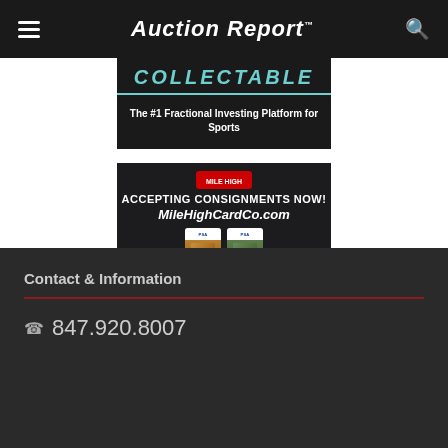Auction Report™
[Figure (advertisement): Collectable - The #1 Fractional Investing Platform for Sports advertisement banner with teal text on dark background]
[Figure (advertisement): MileHighCardCo.com - Accepting Consignments Now! advertisement banner with white text on dark background, showing two graded baseball cards]
Contact & Information
847.920.8007